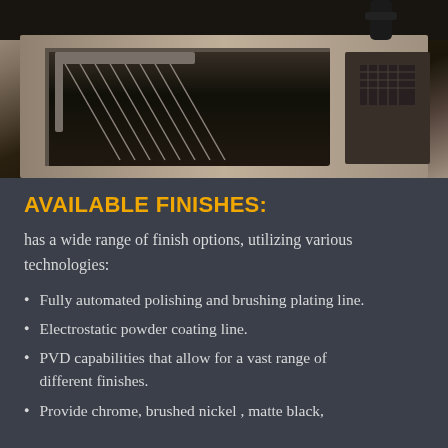[Figure (photo): Close-up photograph of a stainless steel kitchen sink with a drying rack/wire strainer accessory placed over it, set in a wooden cabinet surround. Dark finish sink with metallic drain accessories.]
AVAILABLE FINISHES:
has a wide range of finish options, utilizing various technologies:
Fully automated polishing and brushing plating line.
Electrostatic powder coating line.
PVD capabilities that allow for a vast range of different finishes.
Provide chrome, brushed nickel , matte black,